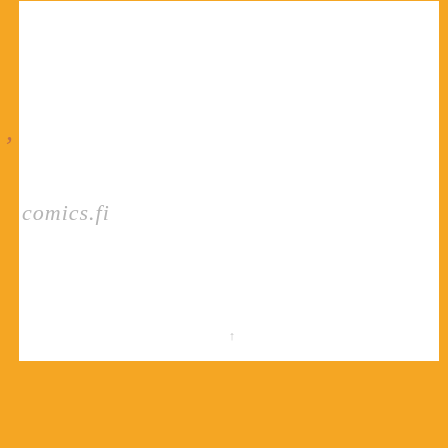ty of Turku
comics.fi
[Figure (other): Page with orange border/frame design, partial text visible: 'ty of Turku' at top left in handwritten style, 'comics.fi' in center-left area in grey handwritten style, small upward arrow near bottom center. Orange background surrounds a white card area.]